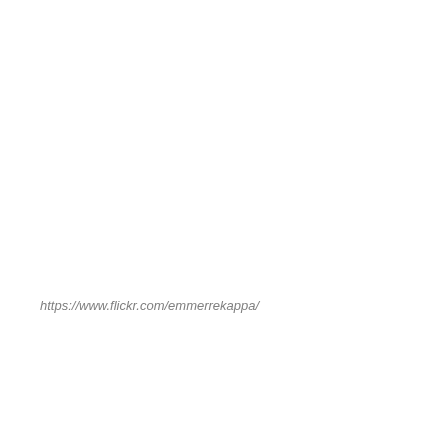https://www.flickr.com/emmerrekappa/